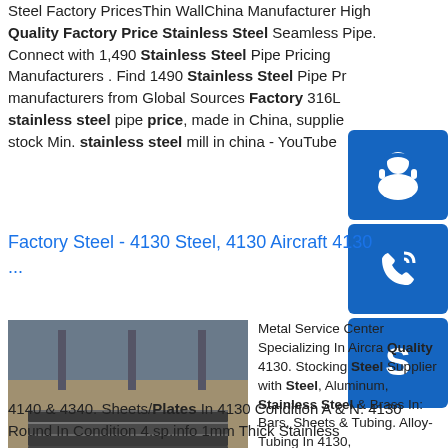Steel Factory PricesThin WallChina Manufacturer High Quality Factory Price Stainless Steel Seamless Pipe. Connect with 1,490 Stainless Steel Pipe Pricing Manufacturers . Find 1490 Stainless Steel Pipe Pr manufacturers from Global Sources Factory 316L stainless steel pipe price, made in China, supplie stock Min. stainless steel mill in china - YouTube
[Figure (infographic): Blue square button with white headset/support icon]
[Figure (infographic): Blue square button with white phone icon]
[Figure (infographic): Blue square button with white Skype icon]
Factory Steel - 4130 Steel, 4130 Aircraft 4130 ...
[Figure (photo): Stack of dark steel/metal plates or sheets in an industrial setting]
Metal Service Center Specializing In Aircra Quality 4130. Stocking Steel Supplier with Steel, Aluminum, Stainless Steel & Brass In: Bars, Sheets & Tubing. Alloy-Tubing In 4130, 4140 & 4340. Sheets/Plates In 4130 Condition A & N. 4130 Round In Condition 4.sp.info 1mm Thick Stainless